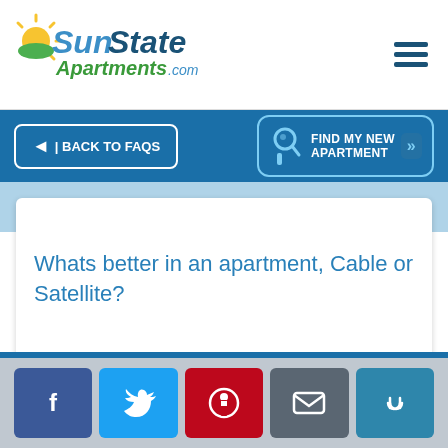SunState Apartments .com
◄| BACK TO FAQS
FIND MY NEW APARTMENT
Whats better in an apartment, Cable or Satellite?
Answered by
Noel Myatt
September 30, 2012
[Figure (photo): Circular portrait photo of Noel Myatt, a bald man with glasses and a beard, smiling, wearing a suit and tie.]
f  Twitter bird  Pinterest P  Email envelope  Link chain